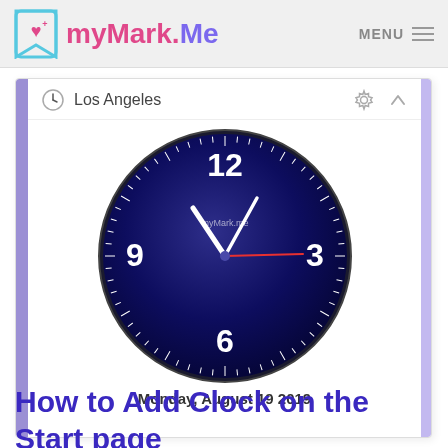myMark.Me  MENU ≡
[Figure (screenshot): A clock widget card showing Los Angeles time. The clock face is dark navy/blue with white numerals 12, 3, 6, 9 and white hour/minute hands and a red second hand. Date shown: Monday, August 19 2019. The card has a purple left border and lighter purple right side panel.]
How to Add Clock on the Start page